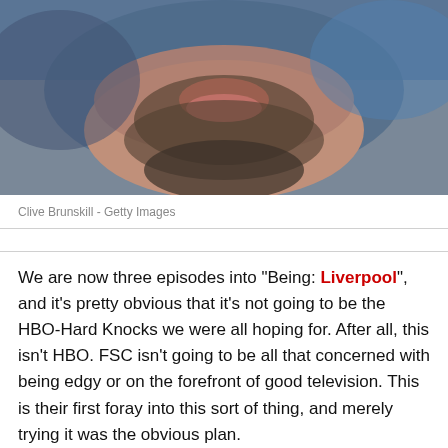[Figure (photo): Close-up photo of a man's face showing lower half with beard and mustache, blurred background of blue and neutral tones]
Clive Brunskill - Getty Images
We are now three episodes into "Being: Liverpool", and it's pretty obvious that it's not going to be the HBO-Hard Knocks we were all hoping for. After all, this isn't HBO. FSC isn't going to be all that concerned with being edgy or on the forefront of good television. This is their first foray into this sort of thing, and merely trying it was the obvious plan.